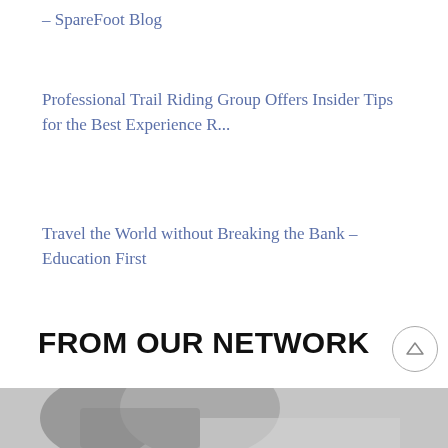– SpareFoot Blog
Professional Trail Riding Group Offers Insider Tips for the Best Experience R...
Travel the World without Breaking the Bank – Education First
FROM OUR NETWORK
[Figure (photo): Partial view of a person, image cropped at bottom of page]